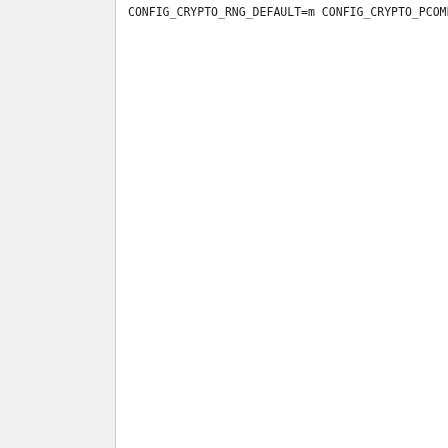CONFIG_CRYPTO_RNG_DEFAULT=m
CONFIG_CRYPTO_PCOMP=m
CONFIG_CRYPTO_PCOMP2=y
CONFIG_CRYPTO_AKCIPHER2=y
# CONFIG_CRYPTO_RSA is not set
CONFIG_CRYPTO_MANAGER=y
CONFIG_CRYPTO_MANAGER2=y
CONFIG_CRYPTO_USER=m
CONFIG_CRYPTO_MANAGER_DISABLE_TE
CONFIG_CRYPTO_GF128MUL=m
CONFIG_CRYPTO_NULL=m
CONFIG_CRYPTO_NULL2=y
# CONFIG_CRYPTO_PCRYPT is not se
CONFIG_CRYPTO_WORKQUEUE=y
CONFIG_CRYPTO_CRYPTD=m
# CONFIG_CRYPTO_MCRYPTD is not s
CONFIG_CRYPTO_AUTHENC=m
CONFIG_CRYPTO_TEST=m
CONFIG_CRYPTO_ABLK_HELPER=m
CONFIG_CRYPTO_GLUE_HELPER_X86=m

#
# Authenticated Encryption with
#
CONFIG_CRYPTO_CCM=m
CONFIG_CRYPTO_GCM=m
# CONFIG_CRYPTO_CHACHA20POLY1305
CONFIG_CRYPTO_SEQIV=m
CONFIG_CRYPTO_ECHAINIV=m

#
# Block modes